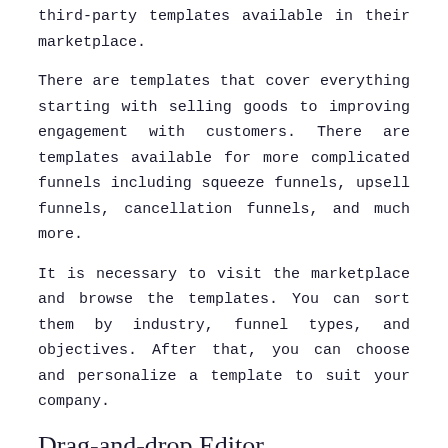third-party templates available in their marketplace.
There are templates that cover everything starting with selling goods to improving engagement with customers. There are templates available for more complicated funnels including squeeze funnels, upsell funnels, cancellation funnels, and much more.
It is necessary to visit the marketplace and browse the templates. You can sort them by industry, funnel types, and objectives. After that, you can choose and personalize a template to suit your company.
Drag-and-drop Editor
The drag-and drop editor is one of the greatest features of ClickFunnels. It lets you quickly alter templates by dragging and dropping the elements you wish to appear on your website.
It's that simple. You can build a sales funnel, with multiple pages in